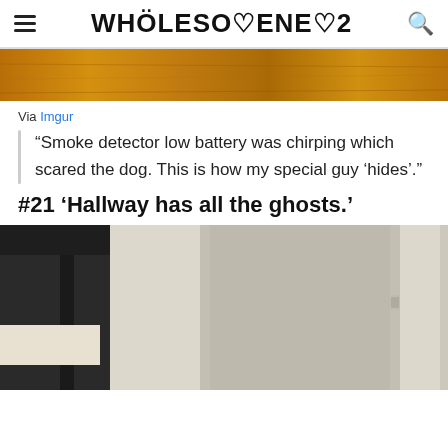WHÖLESOMENESS
[Figure (photo): Wooden floor photo at top]
Via Imgur
“Smoke detector low battery was chirping which scared the dog. This is how my special guy ‘hides’.”
#21 ‘Hallway has all the ghosts.’
[Figure (photo): Interior hallway photo with chairs and furniture]